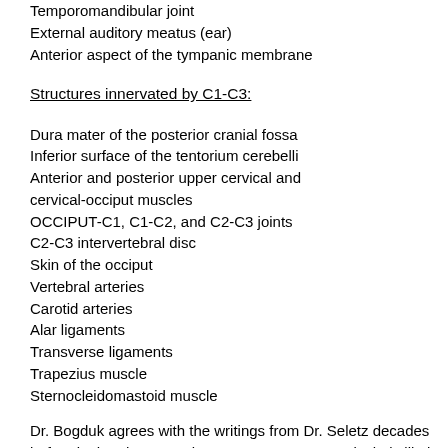Temporomandibular joint
External auditory meatus (ear)
Anterior aspect of the tympanic membrane
Structures innervated by C1-C3:
Dura mater of the posterior cranial fossa
Inferior surface of the tentorium cerebelli
Anterior and posterior upper cervical and cervical-occiput muscles
OCCIPUT-C1, C1-C2, and C2-C3 joints
C2-C3 intervertebral disc
Skin of the occiput
Vertebral arteries
Carotid arteries
Alar ligaments
Transverse ligaments
Trapezius muscle
Sternocleidomastoid muscle
Dr. Bogduk agrees with the writings from Dr. Seletz decades before in that the C1 and C2 nerve roots are particularly likely to be involved